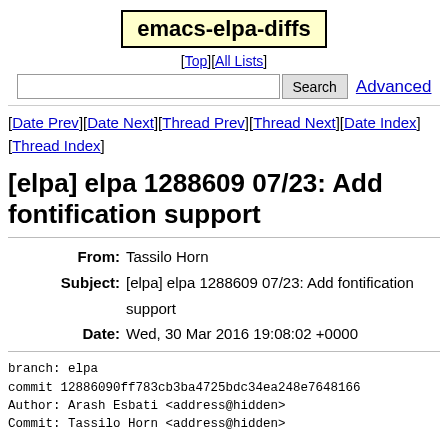emacs-elpa-diffs
[Top][All Lists]
Search  Advanced
[Date Prev][Date Next][Thread Prev][Thread Next][Date Index][Thread Index]
[elpa] elpa 1288609 07/23: Add fontification support
From: Tassilo Horn
Subject: [elpa] elpa 1288609 07/23: Add fontification support
Date: Wed, 30 Mar 2016 19:08:02 +0000
branch: elpa
commit 12886090ff783cb3ba4725bdc34ea248e7648166
Author: Arash Esbati <address@hidden>
Commit: Tassilo Horn <address@hidden>

    Add fontification support

    * style/environ.el ("environ"): Add fontification su